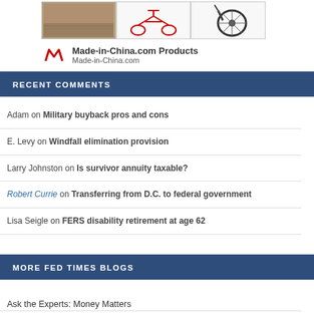[Figure (screenshot): Ad banner showing three product images (road, exercise bike drawing, motorcycle wheel) for Made-in-China.com Products with logo and URL Made-in-China.com]
RECENT COMMENTS
Adam on Military buyback pros and cons
E. Levy on Windfall elimination provision
Larry Johnston on Is survivor annuity taxable?
Robert Currie on Transferring from D.C. to federal government
Lisa Seigle on FERS disability retirement at age 62
MORE FED TIMES BLOGS
Ask the Experts: Money Matters